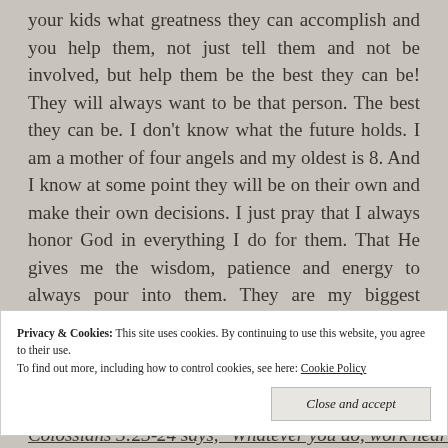your kids what greatness they can accomplish and you help them, not just tell them and not be involved, but help them be the best they can be! They will always want to be that person. The best they can be. I don't know what the future holds. I am a mother of four angels and my oldest is 8. And I know at some point they will be on their own and make their own decisions. I just pray that I always honor God in everything I do for them. That He gives me the wisdom, patience and energy to always pour into them. They are my biggest accomplishment. If giving my life for my kids means I live for them and make them my priority I'm okay with that.
Privacy & Cookies: This site uses cookies. By continuing to use this website, you agree to their use.
To find out more, including how to control cookies, see here: Cookie Policy
Close and accept
Colossians 3:23-24 says, "Whatever you do, work heartily, as for the